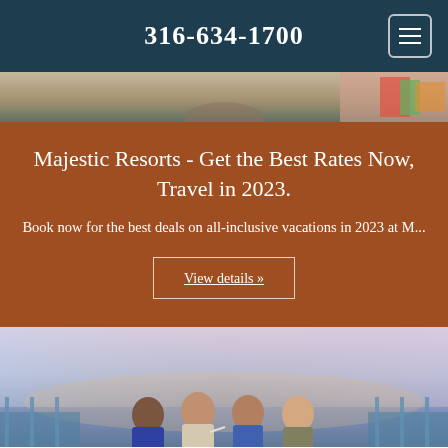316-634-1700
[Figure (photo): Top banner image showing resort area with colorful decoration]
Majestic Resorts - Get the Best Rates Now, Travel in 2023.
Book now for the best deals on all-inclusive vacations in 2023 at M...
View details »
[Figure (photo): Group of four people socializing on a rooftop or terrace at sunset/dusk by the ocean]